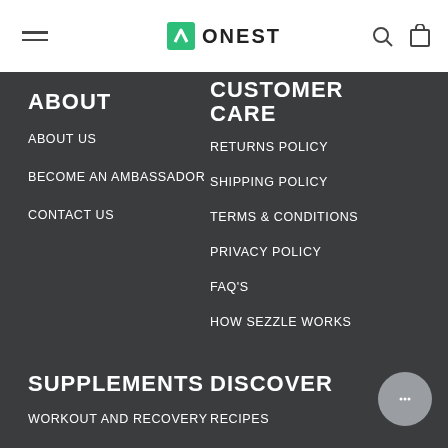ONEST
ABOUT
ABOUT US
BECOME AN AMBASSADOR
CONTACT US
CUSTOMER CARE
RETURNS POLICY
SHIPPING POLICY
TERMS & CONDITIONS
PRIVACY POLICY
FAQ'S
HOW SEZZLE WORKS
SUPPLEMENTS
WORKOUT AND RECOVERY
DISCOVER
RECIPES